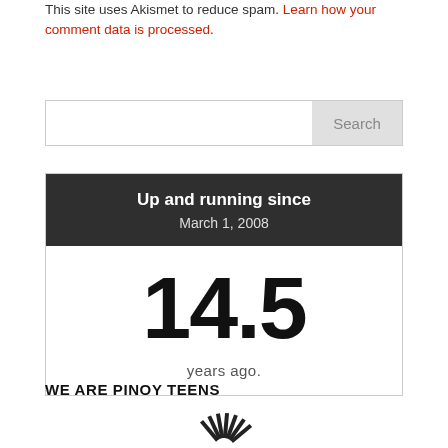This site uses Akismet to reduce spam. Learn how your comment data is processed.
[Figure (other): Search bar with text input field and Search button]
[Figure (infographic): Widget showing 'Up and running since March 1, 2008' with large text '14.5 years ago.']
WE ARE PINOY TEENS
[Figure (logo): Partial logo image at the bottom of the page showing a circular/radial design]